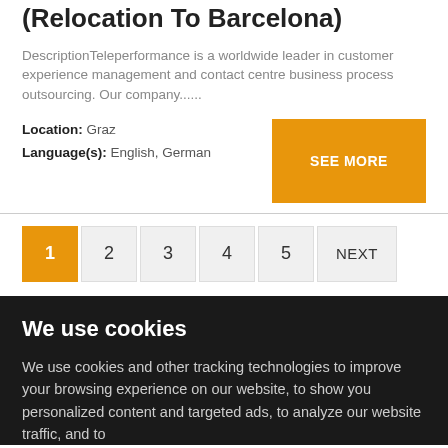Representative - Google Products (Relocation To Barcelona)
DescriptionTeleperformance is a worldwide leader in customer experience management and contact centre business process outsourcing. Our company......
Location: Graz
Language(s): English, German
SEE MORE
1  2  3  4  5  NEXT
We use cookies
We use cookies and other tracking technologies to improve your browsing experience on our website, to show you personalized content and targeted ads, to analyze our website traffic, and to